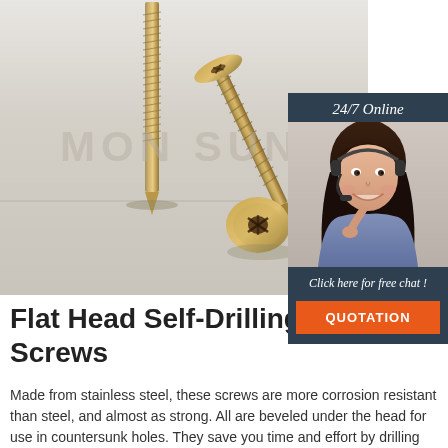[Figure (photo): Two flat head self-drilling tapping screws on a light grey surface, with MONSUN watermark. The screws are gold/zinc colored with Phillips/Torx drive heads. One screw is standing upright showing the threading, another is lying at an angle with the head visible.]
[Figure (photo): 24/7 Online chat widget showing a woman with a headset smiling, with a 'Click here for free chat!' message and an orange QUOTATION button.]
Flat Head Self-Drilling Tapping Screws
Made from stainless steel, these screws are more corrosion resistant than steel, and almost as strong. All are beveled under the head for use in countersunk holes. They save you time and effort by drilling their